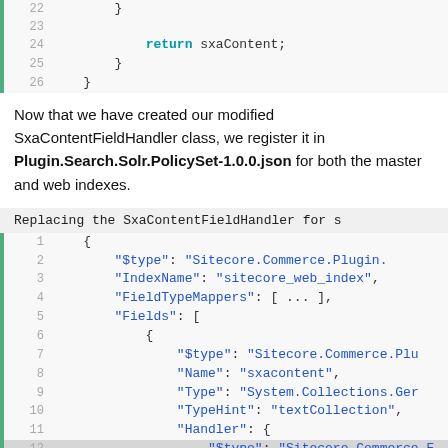[Figure (screenshot): Code snippet lines 22-26 showing closing braces and return sxaContent statement in a code editor]
Now that we have created our modified SxaContentFieldHandler class, we register it in Plugin.Search.Solr.PolicySet-1.0.0.json for both the master and web indexes.
Replacing the SxaContentFieldHandler for s
[Figure (screenshot): Code snippet lines 1-13 of JSON configuration replacing SxaContentFieldHandler, showing $type, IndexName sitecore_web_index, FieldTypeMappers, Fields array with nested $type, Name sxacontent, Type System.Collections.Ger, TypeHint textCollection, Handler with $type Sitecore.Commerce.E, line 12 highlighted]